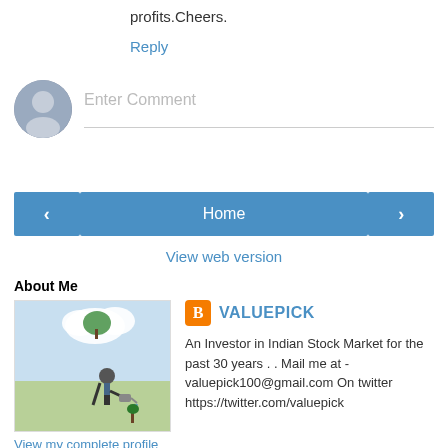profits.Cheers.
Reply
Enter Comment
Home
View web version
About Me
VALUEPICK
An Investor in Indian Stock Market for the past 30 years . . Mail me at - valuepick100@gmail.com On twitter https://twitter.com/valuepick
View my complete profile
Powered by Blogger.